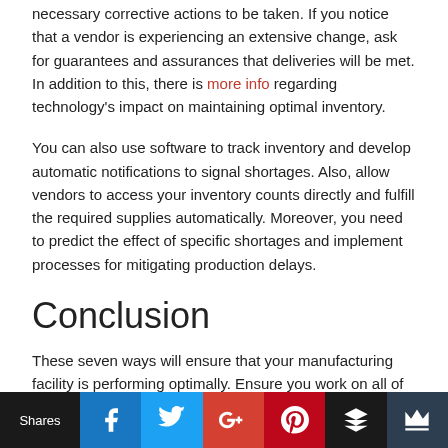necessary corrective actions to be taken. If you notice that a vendor is experiencing an extensive change, ask for guarantees and assurances that deliveries will be met. In addition to this, there is more info regarding technology's impact on maintaining optimal inventory.
You can also use software to track inventory and develop automatic notifications to signal shortages. Also, allow vendors to access your inventory counts directly and fulfill the required supplies automatically. Moreover, you need to predict the effect of specific shortages and implement processes for mitigating production delays.
Conclusion
These seven ways will ensure that your manufacturing facility is performing optimally. Ensure you work on all of them to see results in your overall productivity.
Shares | Facebook | Twitter | Google+ | Pinterest | Stack | Crown